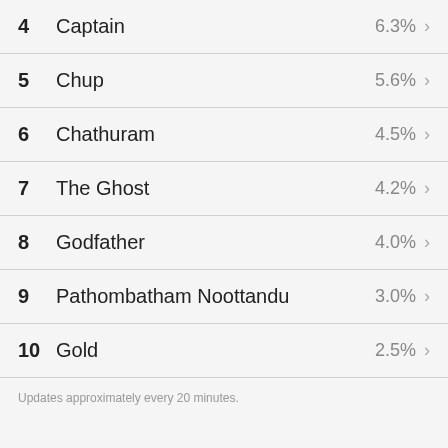4  Captain  6.3%
5  Chup  5.6%
6  Chathuram  4.5%
7  The Ghost  4.2%
8  Godfather  4.0%
9  Pathombatham Noottandu  3.0%
10  Gold  2.5%
Updates approximately every 20 minutes.